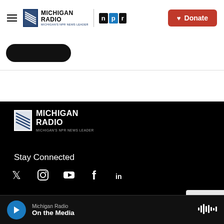Michigan Radio – Michigan's NPR News Leader | Donate
[Figure (logo): Michigan Radio logo with NPR badge and Donate button]
[Figure (logo): Michigan Radio footer logo – MICHIGAN'S NPR NEWS LEADER]
Stay Connected
[Figure (illustration): Social media icons: Twitter, Instagram, YouTube, Facebook, LinkedIn]
© 2022 MICHIGAN RADIO
About Us
Michigan Radio | On the Media